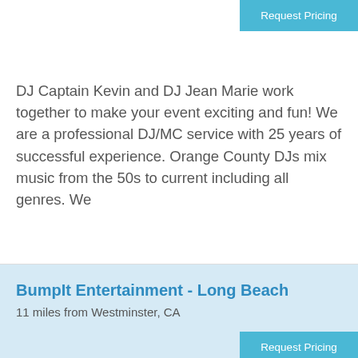Request Pricing
DJ Captain Kevin and DJ Jean Marie work together to make your event exciting and fun! We are a professional DJ/MC service with 25 years of successful experience. Orange County DJs mix music from the 50s to current including all genres. We
[Figure (photo): Light blue placeholder image area]
BumpIt Entertainment - Long Beach
11 miles from Westminster, CA
Request Pricing